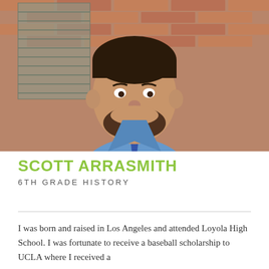[Figure (photo): Professional headshot of Scott Arrasmith, a man with dark hair and beard wearing a blue checkered shirt and blue tie, photographed outdoors in front of a brick wall with window blinds visible in the background.]
SCOTT ARRASMITH
6TH GRADE HISTORY
I was born and raised in Los Angeles and attended Loyola High School. I was fortunate to receive a baseball scholarship to UCLA where I received a